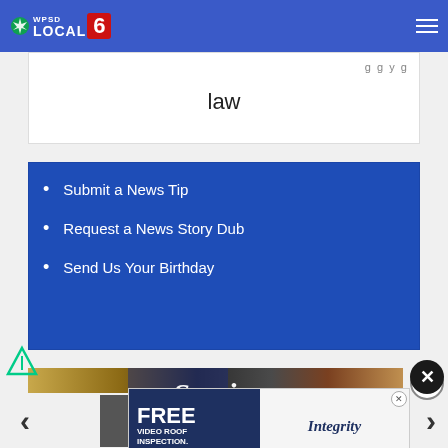[Figure (logo): WPSD Local 6 NBC affiliate logo in top nav bar]
law
Submit a News Tip
Request a News Story Dub
Send Us Your Birthday
[Figure (photo): Service & Sacrifice banner with American flag imagery]
[Figure (screenshot): FREE VIDEO ROOF INSPECTION advertisement for Integrity Roofing]
h for 47th year